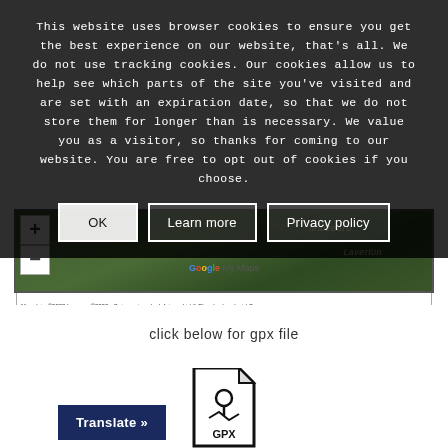This website uses browser cookies to ensure you get the best experience on our website, that's all. We do not use tracking cookies. Our cookies allow us to help see which parts of the site you've visited and are set with an expiration date, so that we do not store them for longer than is necessary. We value you as a visitor, so thanks for coming to our website. You are free to opt out of cookies if you choose.
[Figure (screenshot): Google My Maps satellite/aerial view showing countryside near Malzeard and Laverton, with zoom in/out controls on the left and attribution bar at the bottom.]
click below for gpx file
[Figure (illustration): GPX file icon — a document shape with a map pin / route symbol and 'GPX' text label]
Translate »